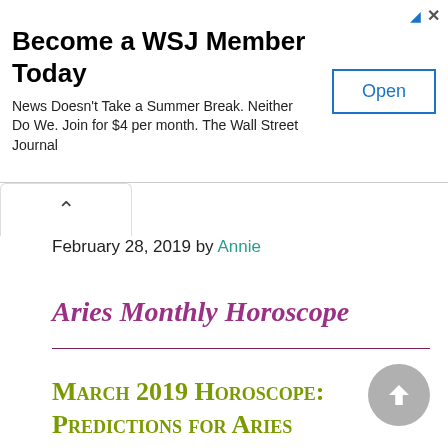[Figure (other): WSJ advertisement banner: 'Become a WSJ Member Today' with subtitle 'News Doesn't Take a Summer Break. Neither Do We. Join for $4 per month. The Wall Street Journal' and an 'Open' button.]
February 28, 2019 by Annie
Aries Monthly Horoscope
March 2019 Horoscope: Predictions for Aries